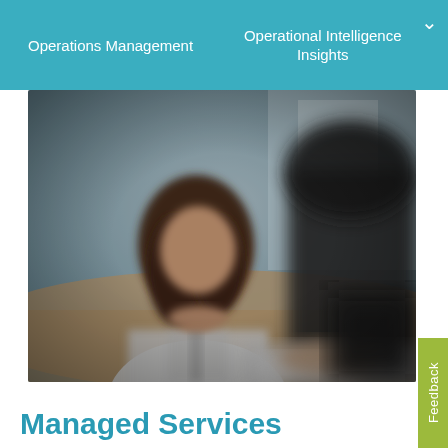Operations Management   Operational Intelligence Insights
[Figure (photo): Two business professionals meeting at a table. A woman with long dark hair in a white blouse sits across, with a man in a dark suit jacket visible in the foreground, slightly blurred.]
Managed Services
Feedback